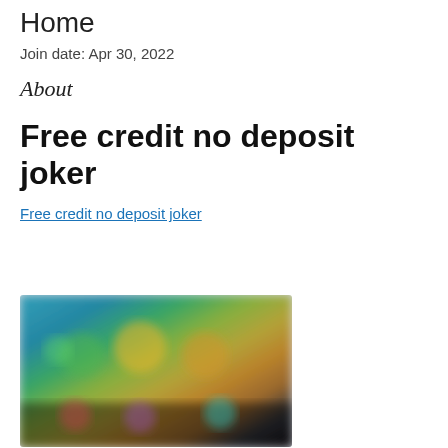Home
Join date: Apr 30, 2022
About
Free credit no deposit joker
Free credit no deposit joker
[Figure (photo): Blurred screenshot of a colorful online gaming interface showing animated character graphics with teal, green, yellow and dark backgrounds]